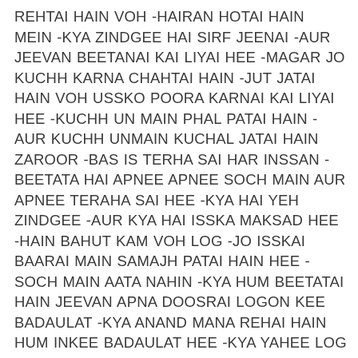REHTAI HAIN VOH -HAIRAN HOTAI HAIN MEIN -KYA ZINDGEE HAI SIRF JEENAI -AUR JEEVAN BEETANAI KAI LIYAI HEE -MAGAR JO KUCHH KARNA CHAHTAI HAIN -JUT JATAI HAIN VOH USSKO POORA KARNAI KAI LIYAI HEE -KUCHH UN MAIN PHAL PATAI HAIN -AUR KUCHH UNMAIN KUCHAL JATAI HAIN ZAROOR -BAS IS TERHA SAI HAR INSSAN -BEETATA HAI APNEE APNEE SOCH MAIN AUR APNEE TERAHA SAI HEE -KYA HAI YEH ZINDGEE -AUR KYA HAI ISSKA MAKSAD HEE -HAIN BAHUT KAM VOH LOG -JO ISSKAI BAARAI MAIN SAMAJH PATAI HAIN HEE -SOCH MAIN AATA NAHIN -KYA HUM BEETATAI HAIN JEEVAN APNA DOOSRAI LOGON KEE BADAULAT -KYA ANAND MANA REHAI HAIN HUM INKEE BADAULAT HEE -KYA YAHEE LOG HAIN JINHON NAIN BADAL DEE HAI YEH DUNIYAN SAREE - CHALNAIN AUR GHOOMNAIN GHUMANAIN KAI LIYAI HEE -BANA DEE HAIN INHON NAIN -KAARAIN, BICYCLES, BIKES, SCOOTERS, BASAIN AUR RAIL BHEE -AUR DOOSRAI SHEHROON AUR DESHON MAIN JANAI KAI LIYAI BHEE -BANA DIYAI HAIN HAVAYEE JAHAZ AUR HAILEEKAPTAR BHEE -REHTAI HAIN HUM SAB LOG -APNAI APNAI KAAMON MAIN -DIN RAAT MASROOF HAR DARKAR SAI HEE -LEKIN BAAT HOTAI